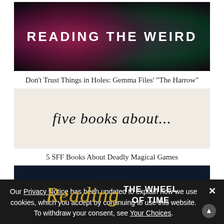[Figure (illustration): Dark banner with skull imagery, pink/magenta glow on left and green glow on right, white bold uppercase text 'READING THE WEIRD']
Don't Trust Things in Holes: Gemma Files' “The Harrow”
[Figure (illustration): Light cream/beige banner with italic text 'five books about...' in large black serif font]
5 SFF Books About Deadly Magical Games
[Figure (illustration): Dark navy blue banner with starry background, italic gold 'Reading' text on left and bold white 'THE WHEEL OF TIME' on right]
Our Privacy Notice has been updated to explain how we use cookies, which you accept by continuing to use this website. To withdraw your consent, see Your Choices.